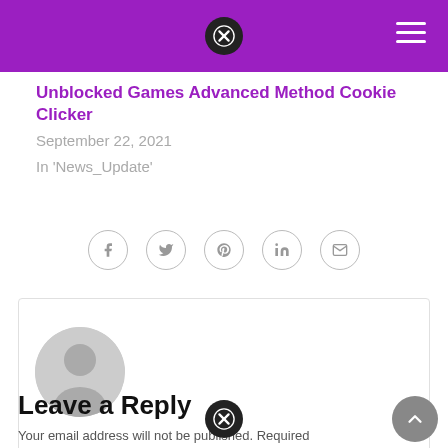Unblocked Games Advanced Method Cookie Clicker
September 22, 2021
In 'News_Update'
[Figure (other): Social share icons: Facebook, Twitter, Pinterest, LinkedIn, Email — each in a light grey circle border]
[Figure (other): Comment section box with a grey anonymous user avatar]
Leave a Reply
Your email address will not be published. Required